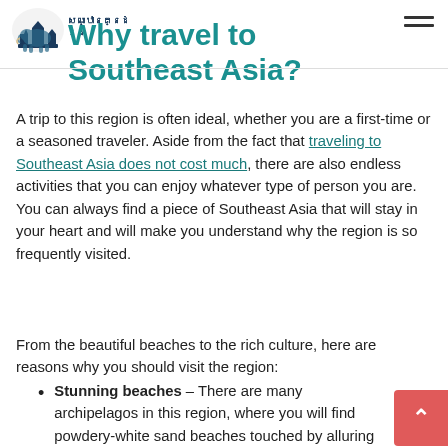[Figure (logo): Southeast Asia travel website logo with Cambodian-style temple/elephant icon and Khmer script text]
Why travel to Southeast Asia?
A trip to this region is often ideal, whether you are a first-time or a seasoned traveler. Aside from the fact that traveling to Southeast Asia does not cost much, there are also endless activities that you can enjoy whatever type of person you are. You can always find a piece of Southeast Asia that will stay in your heart and will make you understand why the region is so frequently visited.
From the beautiful beaches to the rich culture, here are reasons why you should visit the region:
Stunning beaches – There are many archipelagos in this region, where you will find powdery-white sand beaches touched by alluring crystal-clear blue waters. Many of these beaches are not